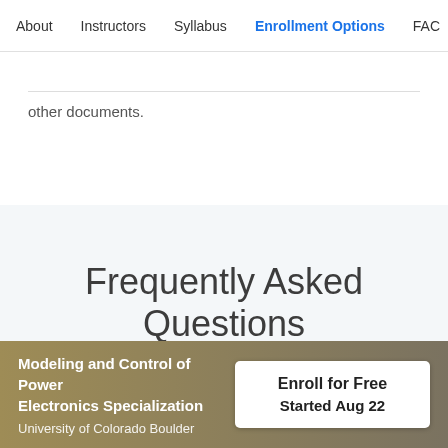About   Instructors   Syllabus   Enrollment Options   FAC
other documents.
Frequently Asked Questions
Modeling and Control of Power Electronics Specialization
University of Colorado Boulder
Enroll for Free
Started Aug 22